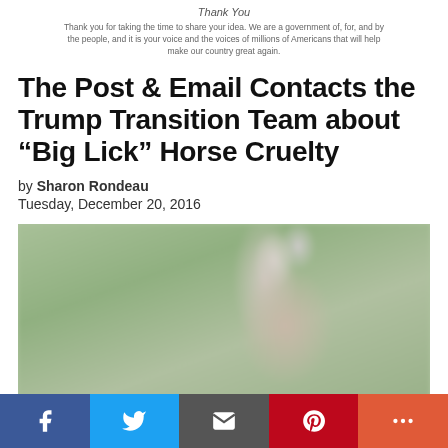Thank You
Thank you for taking the time to share your idea. We are a government of, for, and by the people, and it is your voice and the voices of millions of Americans that will help make our country great again.
The Post & Email Contacts the Trump Transition Team about “Big Lick” Horse Cruelty
by Sharon Rondeau
Tuesday, December 20, 2016
[Figure (photo): Blurred close-up photo of a horse head, showing the top and back of the head with blurred green background]
Social share bar: Facebook, Twitter, Email, Pinterest, More